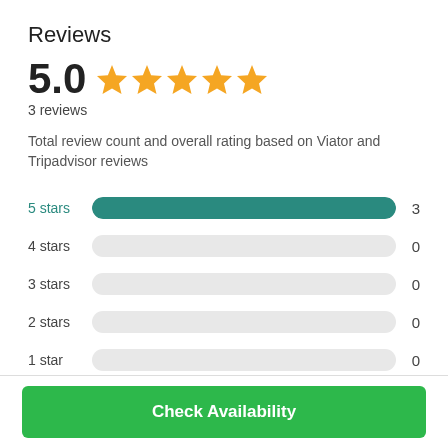Reviews
5.0 ★★★★★
3 reviews
Total review count and overall rating based on Viator and Tripadvisor reviews
[Figure (bar-chart): Star rating distribution]
Check Availability